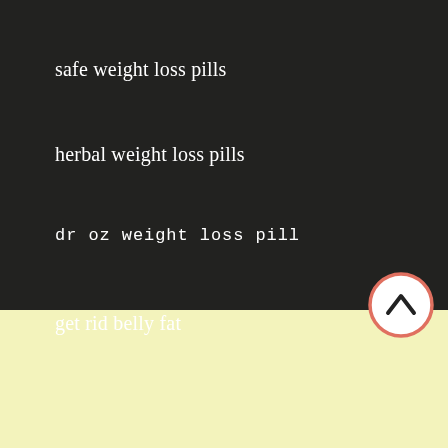safe weight loss pills
herbal weight loss pills
dr oz weight loss pill
get rid belly fat
burn pills weight loss
[Figure (other): Scroll-to-top button: circular button with red/salmon border, white fill, dark upward chevron icon]